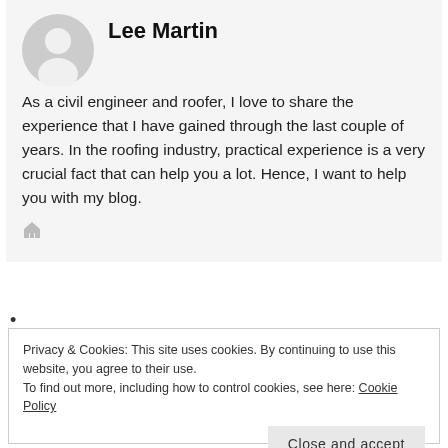Lee Martin
As a civil engineer and roofer, I love to share the experience that I have gained through the last couple of years. In the roofing industry, practical experience is a very crucial fact that can help you a lot. Hence, I want to help you with my blog.
[Figure (illustration): Gray circular avatar/silhouette of a person placeholder image]
Privacy & Cookies: This site uses cookies. By continuing to use this website, you agree to their use.
To find out more, including how to control cookies, see here: Cookie Policy
Close and accept